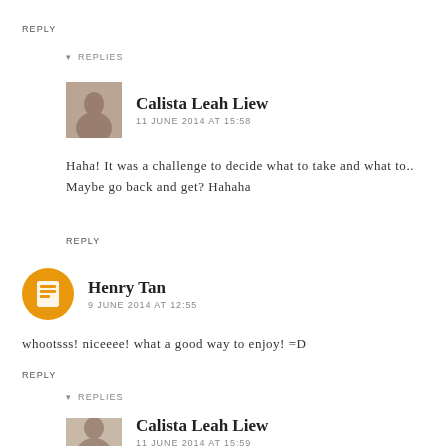REPLY
▾ REPLIES
Calista Leah Liew
11 JUNE 2014 AT 15:58
Haha! It was a challenge to decide what to take and what to.. Maybe go back and get? Hahaha
REPLY
Henry Tan
9 JUNE 2014 AT 12:55
whootsss! niceeee! what a good way to enjoy! =D
REPLY
▾ REPLIES
Calista Leah Liew
11 JUNE 2014 AT 15:59